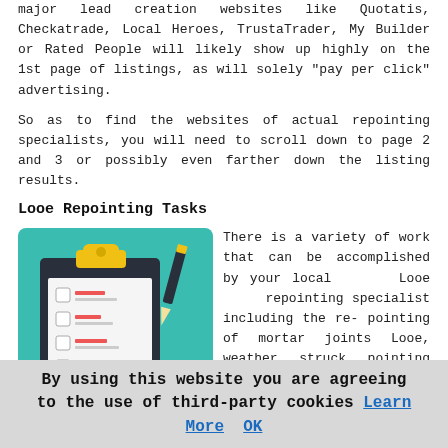major lead creation websites like Quotatis, Checkatrade, Local Heroes, TrustaTrader, My Builder or Rated People will likely show up highly on the 1st page of listings, as will solely "pay per click" advertising.
So as to find the websites of actual repointing specialists, you will need to scroll down to page 2 and 3 or possibly even farther down the listing results.
Looe Repointing Tasks
[Figure (illustration): Clipboard with checklist and pen illustration on teal background]
There is a variety of work that can be accomplished by your local Looe repointing specialist including the re-pointing of mortar joints Looe, weather struck pointing and re-pointing, bed joint reinforcement, repointing services, facade restoration Looe, mortar rake grinding Looe, mortar raking, repointing stone walls, industrial repointing, brick joint raking and repointing, brickwork conservation Looe, cracked brickwork
By using this website you are agreeing to the use of third-party cookies Learn More OK